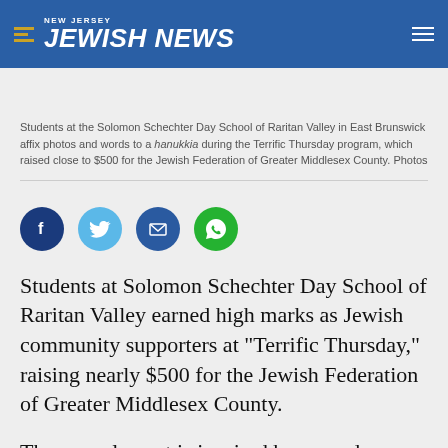NEW JERSEY JEWISH NEWS
Students at the Solomon Schechter Day School of Raritan Valley in East Brunswick affix photos and words to a hanukkia during the Terrific Thursday program, which raised close to $500 for the Jewish Federation of Greater Middlesex County. Photos
[Figure (infographic): Social sharing icons: Facebook (dark blue circle), Twitter (light blue circle), Email (dark blue circle), WhatsApp (green circle)]
Students at Solomon Schechter Day School of Raritan Valley earned high marks as Jewish community supporters at “Terrific Thursday,” raising nearly $500 for the Jewish Federation of Greater Middlesex County.
The annual event is inspired by — and designed to boost — the federation’s Super Sunday, when the